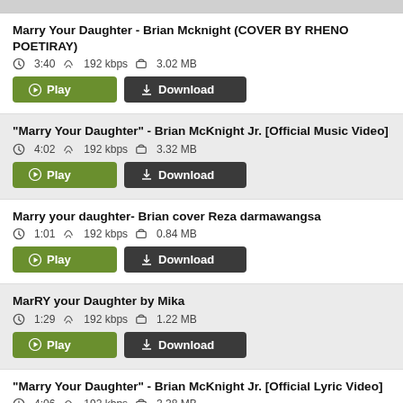Marry Your Daughter - Brian Mcknight (COVER BY RHENO POETIRAY)
3:40  192 kbps  3.02 MB
"Marry Your Daughter" - Brian McKnight Jr. [Official Music Video]
4:02  192 kbps  3.32 MB
Marry your daughter- Brian cover Reza darmawangsa
1:01  192 kbps  0.84 MB
MarRY your Daughter by Mika
1:29  192 kbps  1.22 MB
"Marry Your Daughter" - Brian McKnight Jr. [Official Lyric Video]
4:06  192 kbps  3.38 MB